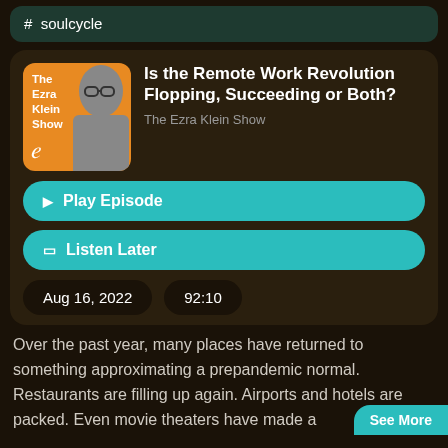# soulcycle
Is the Remote Work Revolution Flopping, Succeeding or Both?
The Ezra Klein Show
▶ Play Episode
🔖 Listen Later
Aug 16, 2022
92:10
Over the past year, many places have returned to something approximating a prepandemic normal. Restaurants are filling up again. Airports and hotels are packed. Even movie theaters have made a
See More